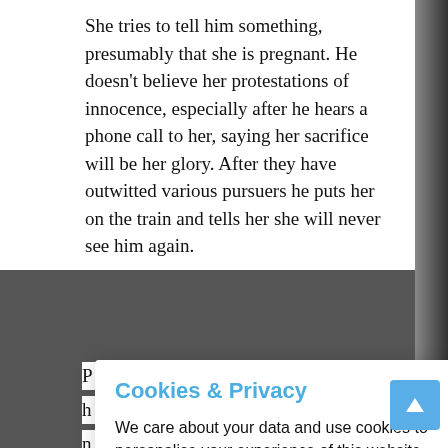She tries to tell him something, presumably that she is pregnant. He doesn't believe her protestations of innocence, especially after he hears a phone call to her, saying her sacrifice will be her glory. After they have outwitted various pursuers he puts her on the train and tells her she will never see him again.
P... h... n... C... s... b...
[Figure (screenshot): Cookie consent modal dialog with title 'Cookies & Privacy', body text about data usage and cookies, a link 'More information', and two buttons: 'Accept Cookies' (blue) and 'Customise Cookies' (light blue).]
B... w... re... Cuba. He decides to help Leiter after all, and arrives on island at the same time as Nomi. He meets up with CIA